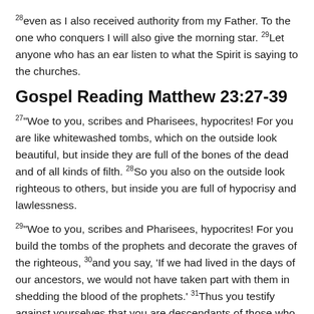28even as I also received authority from my Father. To the one who conquers I will also give the morning star. 29Let anyone who has an ear listen to what the Spirit is saying to the churches.
Gospel Reading Matthew 23:27-39
27"Woe to you, scribes and Pharisees, hypocrites! For you are like whitewashed tombs, which on the outside look beautiful, but inside they are full of the bones of the dead and of all kinds of filth. 28So you also on the outside look righteous to others, but inside you are full of hypocrisy and lawlessness.
29"Woe to you, scribes and Pharisees, hypocrites! For you build the tombs of the prophets and decorate the graves of the righteous, 30and you say, 'If we had lived in the days of our ancestors, we would not have taken part with them in shedding the blood of the prophets.' 31Thus you testify against yourselves that you are descendants of those who murdered the prophets. 32Fill up, then, the measure of your ancestors. 33You also see you